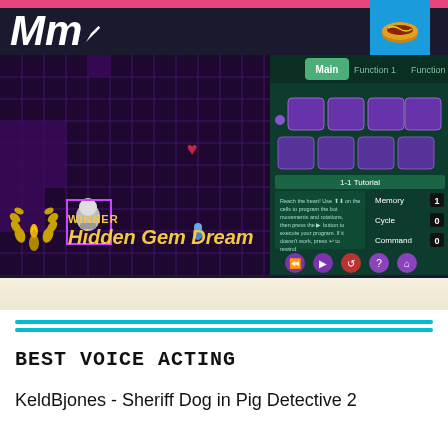[Figure (screenshot): Media Molecule (Mm) logo in top left with white stylized text and pencil icon. A blue bookmark badge with hotdog icon in top right. Screenshot of a game (likely Dreams) showing a grid-based puzzle game on the left with a character and heart, and a programming interface panel on the right with Main/Function1/Function2 tabs, purple command slots, tutorial text, Memory/Cycle/Command counters, and playback buttons. A 'WINNER Hidden Gem Dream' badge with golden laurel wreath in the bottom left of the screenshot area.]
WINNER
Hidden Gem Dream
BEST VOICE ACTING
KeldBjones - Sheriff Dog in Pig Detective 2